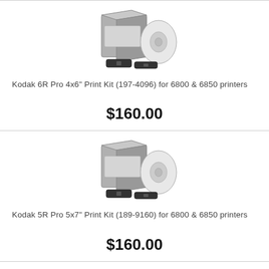[Figure (photo): Kodak print kit product photo showing a box, paper roll, and ink ribbon]
Kodak 6R Pro 4x6" Print Kit (197-4096) for 6800 & 6850 printers
$160.00
[Figure (photo): Kodak print kit product photo showing a box, paper roll, and ink ribbon]
Kodak 5R Pro 5x7" Print Kit (189-9160) for 6800 & 6850 printers
$160.00